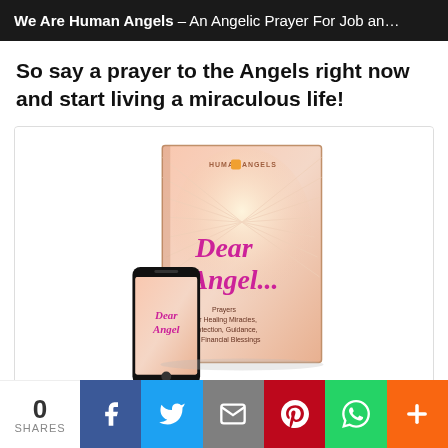We Are Human Angels – An Angelic Prayer For Job an…
So say a prayer to the Angels right now and start living a miraculous life!
[Figure (photo): Book cover and phone mockup for 'Dear Angel...: Prayers For Healing Miracles, Protection, Guidance and Financial Blessings' by Human Angels, shown as a physical book alongside a smartphone displaying the same cover.]
0 SHARES | Facebook | Twitter | Email | Pinterest | WhatsApp | More